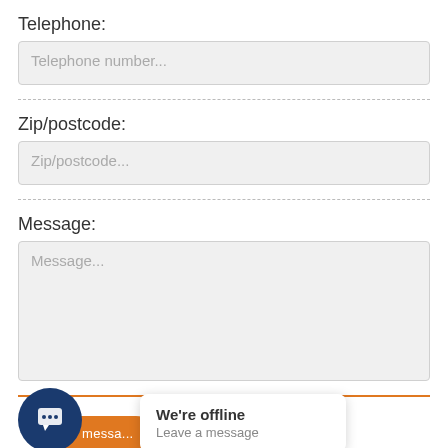Telephone:
Telephone number...
Zip/postcode:
Zip/postcode...
Message:
Message...
[Figure (screenshot): Chat widget at bottom left showing a dark blue circular chat icon with speech bubble icon, an orange 'message' button label, and a white popup card reading 'We're offline / Leave a message']